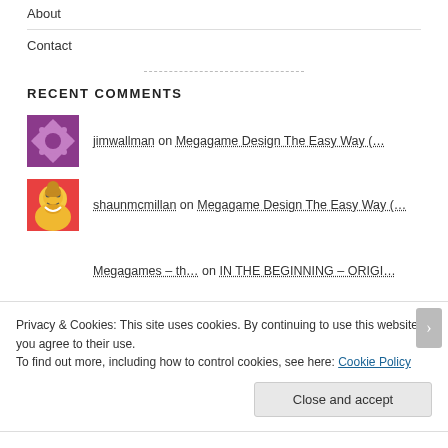About
Contact
RECENT COMMENTS
jimwallman on Megagame Design The Easy Way (…
shaunmcmillan on Megagame Design The Easy Way (…
Megagames – th… on IN THE BEGINNING – ORIGI…
Privacy & Cookies: This site uses cookies. By continuing to use this website, you agree to their use. To find out more, including how to control cookies, see here: Cookie Policy